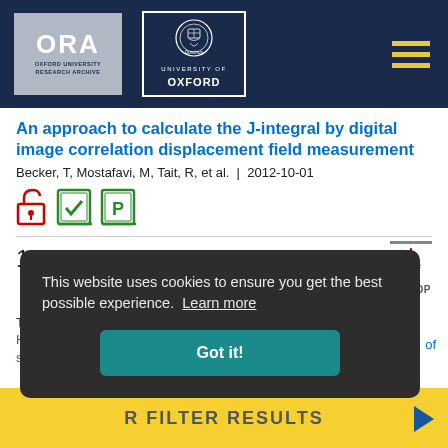[Figure (logo): ORA Oxford University Research Archive logo and University of Oxford crest logo on dark navy header bar with hamburger menu icon]
An approach to calculate the J-integral by digital image correlation displacement field measurement
Becker, T, Mostafavi, M, Tait, R, et al. | 2012-10-01
[Figure (other): Open access icon, green checked publication icon, green P publication icon]
10
This website uses cookies to ensure you get the best possible experience. Learn more
Got it!